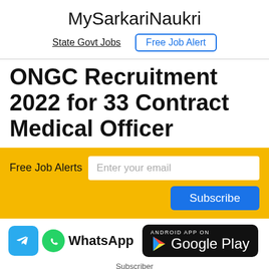MySarkariNaukri
State Govt Jobs | Free Job Alert
ONGC Recruitment 2022 for 33 Contract Medical Officer
Free Job Alerts | Enter your email | Subscribe
[Figure (screenshot): App links row: Telegram icon, WhatsApp label, Google Play badge with play icon]